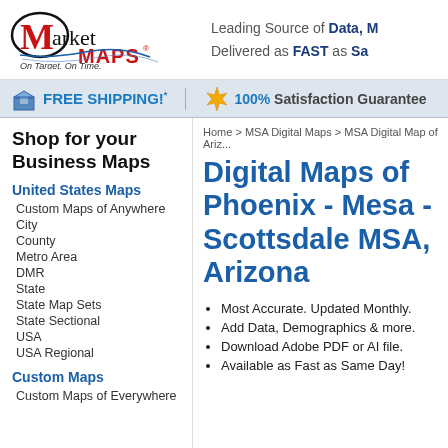Market Maps - On Target. On Time. — Leading Source of Data, M... Delivered as FAST as Sa...
FREE SHIPPING!* — 100% Satisfaction Guarantee
Shop for your Business Maps
United States Maps
Custom Maps of Anywhere
City
County
Metro Area
DMR
State
State Map Sets
State Sectional
USA
USA Regional
Custom Maps
Custom Maps of Everywhere
Home > MSA Digital Maps > MSA Digital Map of Ariz...
Digital Maps of Phoenix - Mesa - Scottsdale MSA, Arizona
Most Accurate. Updated Monthly.
Add Data, Demographics & more.
Download Adobe PDF or AI file.
Available as Fast as Same Day!